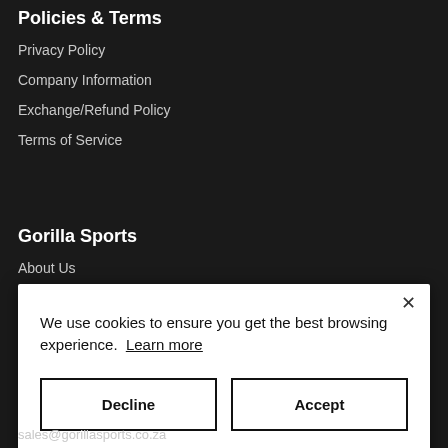Policies & Terms
Privacy Policy
Company Information
Exchange/Refund Policy
Terms of Service
Gorilla Sports
About Us
We use cookies to ensure you get the best browsing experience. Learn more
Decline
Accept
sales@gorillasports.co.za